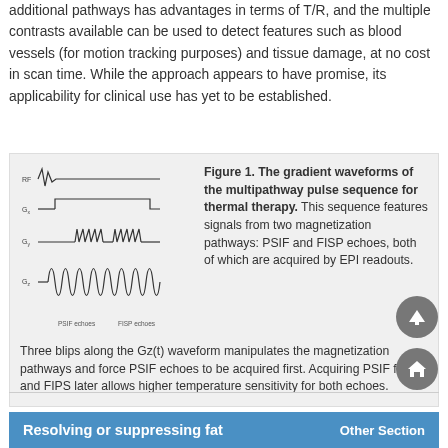additional pathways has advantages in terms of T/R, and the multiple contrasts available can be used to detect features such as blood vessels (for motion tracking purposes) and tissue damage, at no cost in scan time. While the approach appears to have promise, its applicability for clinical use has yet to be established.
[Figure (continuous-plot): Waveform diagram showing gradient waveforms of the multipathway pulse sequence for thermal therapy, with RF, Gx, Gy, Gz labeled on y-axis and PSIF echoes and FISP echoes labeled on x-axis. Shows oscillating gradient waveforms.]
Figure 1. The gradient waveforms of the multipathway pulse sequence for thermal therapy. This sequence features signals from two magnetization pathways: PSIF and FISP echoes, both of which are acquired by EPI readouts. Three blips along the Gz(t) waveform manipulates the magnetization pathways and force PSIF echoes to be acquired first. Acquiring PSIF first and FIPS later allows higher temperature sensitivity for both echoes.
Resolving or suppressing fat
Other Section